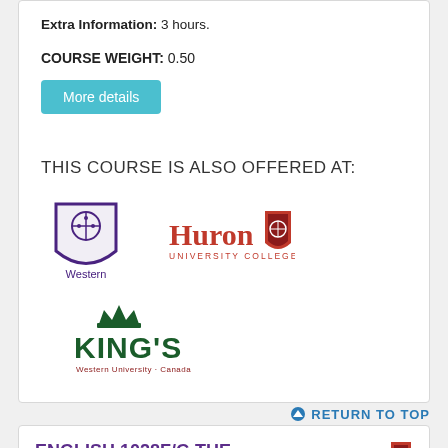Extra Information: 3 hours.
COURSE WEIGHT: 0.50
More details
THIS COURSE IS ALSO OFFERED AT:
[Figure (logo): Western University purple shield logo with text 'Western']
[Figure (logo): Huron University College red logo]
[Figure (logo): King's Western University Canada green logo]
RETURN TO TOP
ENGLISH 1028F/G THE STORYTELLER'S ART II: TOPICS IN NARRATIVE
[Figure (logo): Huron University College red logo]